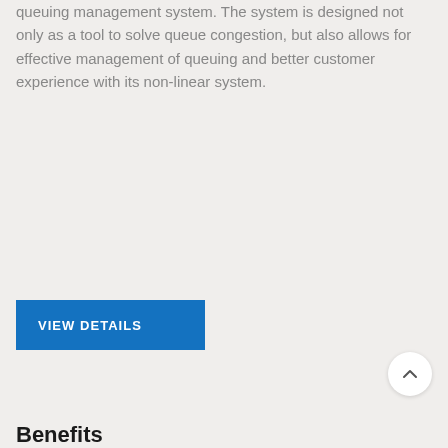queuing management system. The system is designed not only as a tool to solve queue congestion, but also allows for effective management of queuing and better customer experience with its non-linear system.
VIEW DETAILS
Benefits